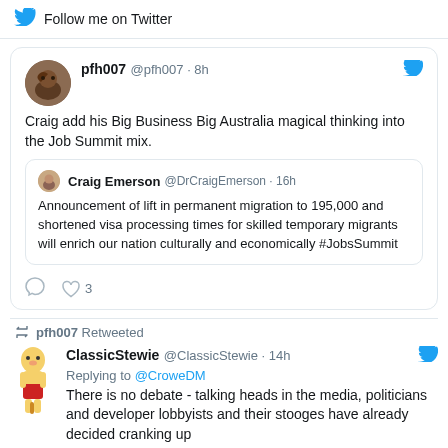Follow me on Twitter
pfh007 @pfh007 · 8h
Craig add his Big Business Big Australia magical thinking into the Job Summit mix.
Craig Emerson @DrCraigEmerson · 16h
Announcement of lift in permanent migration to 195,000 and shortened visa processing times for skilled temporary migrants will enrich our nation culturally and economically #JobsSummit
pfh007 Retweeted
ClassicStewie @ClassicStewie · 14h
Replying to @CroweDM
There is no debate - talking heads in the media, politicians and developer lobbyists and their stooges have already decided cranking up